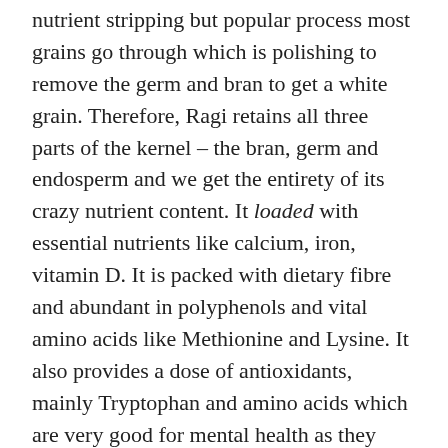nutrient stripping but popular process most grains go through which is polishing to remove the germ and bran to get a white grain. Therefore, Ragi retains all three parts of the kernel – the bran, germ and endosperm and we get the entirety of its crazy nutrient content. It loaded with essential nutrients like calcium, iron, vitamin D. It is packed with dietary fibre and abundant in polyphenols and vital amino acids like Methionine and Lysine. It also provides a dose of antioxidants, mainly Tryptophan and amino acids which are very good for mental health as they calm. In India Ragi is advised for diabetics as a substitute for rice or wheat, as it helps maintaining blood sugar and cholesterol levels. Since it is so rich in fibre it makes you feel very full.